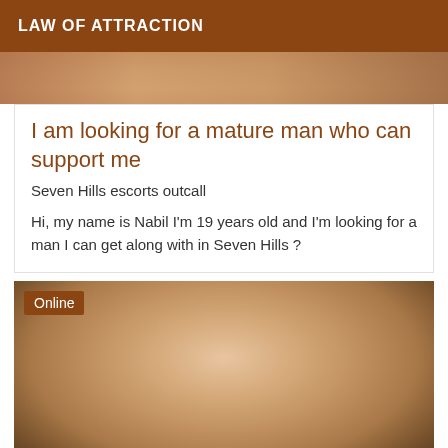LAW OF ATTRACTION
[Figure (photo): Partial photo of a person at the top of the page]
I am looking for a mature man who can support me
Seven Hills escorts outcall
Hi, my name is Nabil I'm 19 years old and I'm looking for a man I can get along with in Seven Hills ?
[Figure (photo): Close-up photo of a person's face/neck, with an 'Online' badge overlay]